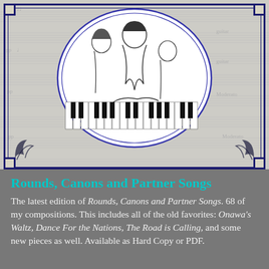[Figure (illustration): Victorian-era illustration inside an oval frame showing a woman and two children at a piano, with sheet music background and decorative scrollwork corners. The image has a blue double border frame.]
Rounds, Canons and Partner Songs
The latest edition of Rounds, Canons and Partner Songs. 68 of my compositions. This includes all of the old favorites: Onawa's Waltz, Dance For the Nations, The Road is Calling, and some new pieces as well. Available as Hard Copy or PDF.